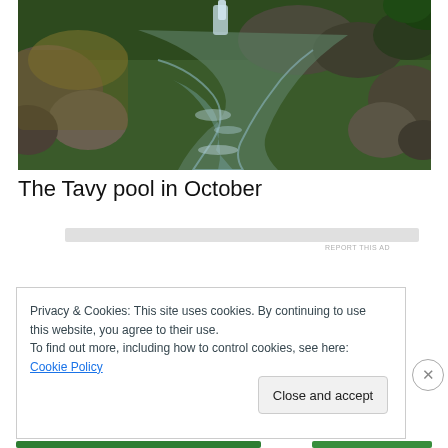[Figure (photo): A stream or river pool with clear shallow water over rocky streambed, surrounded by large boulders and green vegetation. A small waterfall is visible in the background. The scene is taken in a wooded area, photographed in autumn light.]
The Tavy pool in October
Privacy & Cookies: This site uses cookies. By continuing to use this website, you agree to their use. To find out more, including how to control cookies, see here: Cookie Policy